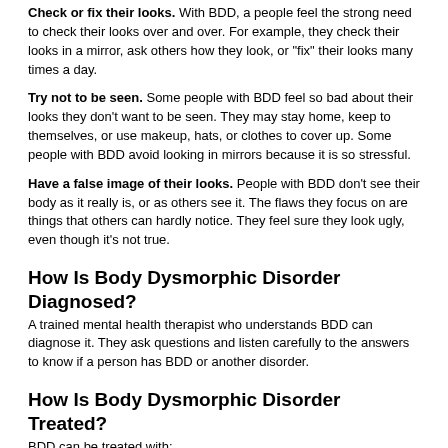Check or fix their looks. With BDD, a people feel the strong need to check their looks over and over. For example, they check their looks in a mirror, ask others how they look, or "fix" their looks many times a day.
Try not to be seen. Some people with BDD feel so bad about their looks they don't want to be seen. They may stay home, keep to themselves, or use makeup, hats, or clothes to cover up. Some people with BDD avoid looking in mirrors because it is so stressful.
Have a false image of their looks. People with BDD don't see their body as it really is, or as others see it. The flaws they focus on are things that others can hardly notice. They feel sure they look ugly, even though it's not true.
How Is Body Dysmorphic Disorder Diagnosed?
A trained mental health therapist who understands BDD can diagnose it. They ask questions and listen carefully to the answers to know if a person has BDD or another disorder.
How Is Body Dysmorphic Disorder Treated?
BDD can be treated with:
Cognitive behavioral therapy (CBT). CBT is a type of talk therapy. It can help people with BDD learn that what they think affects how they feel. In CBT, people learn to notice their thoughts. They learn to challenge the thoughts that make them feel bad. They learn they can change the way they see their body. Slowly, and with lots of support, in CBT people learn to focus less on flaws. They learn to stop checking and fixing their looks.
Medicine. Medicines that help serotonin work well are used to treat BDD. These are sometimes called SSRI medicines. SSRI medicines can help people obsess less about their looks and feel less distress. With less